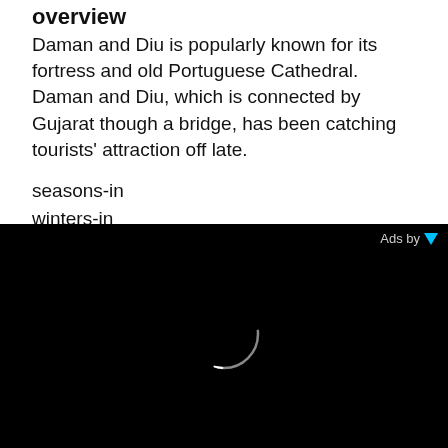overview
Daman and Diu is popularly known for its fortress and old Portuguese Cathedral. Daman and Diu, which is connected by Gujarat though a bridge, has been catching tourists' attraction off late.
seasons-in
winters-in
City witnesses mild winter during December and January, with temperatures around 25°C at night
[Figure (screenshot): Black advertisement panel with a loading spinner circle in the center and 'Ads by' label with blue triangle logo in the top right corner]